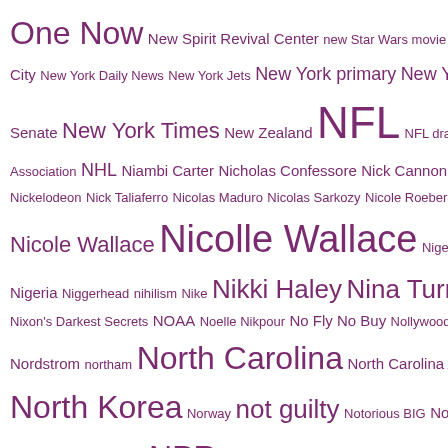One Now New Spirit Revival Center new Star Wars movie Newt Gingrich Newton County Newtown New York New York City New York Daily News New York Jets New York primary New York Senate New York Times New Zealand NFL NFL draft NFL Referees Association NHL Niambi Carter Nicholas Confessore Nick Cannon Nickelodeon Nick Taliaferro Nicolas Maduro Nicolas Sarkozy Nicole Roeberg Nicole Wallace Nicolle Wallace Nigel Farage Niger Nigeria Niggerhead nihilism Nike Nikki Haley Nina Turner Nintendo Nixon's Darkest Secrets NOAA Noelle Nikpour No Fly No Buy Nollywood Nordstrom northam North Carolina North Carolina A&T North Dakota North Korea Norway not guilty Notorious BIG Now In America Now They Work For Us NPR NRA NRA convention NSA NTSB nuclear Nunes Memo nutrition NYPD O'Fallon O.J. Simpson Oakland Oakland Raiders Oakland University Obamacare Obamacare Jenga Obama Doctrine Obama got Osama Obama mask obesity Obligatory Black Film obstruction of justice Occupy Cleveland Occupy DC Occupy